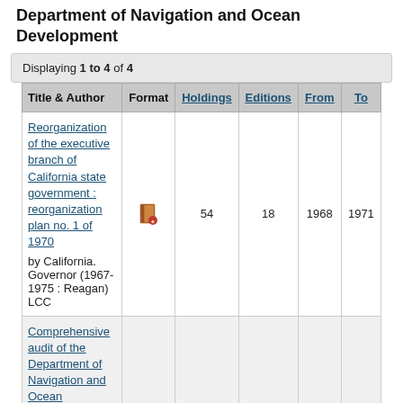Department of Navigation and Ocean Development
Displaying 1 to 4 of 4
| Title & Author | Format | Holdings | Editions | From | To |
| --- | --- | --- | --- | --- | --- |
| Reorganization of the executive branch of California state government : reorganization plan no. 1 of 1970
by California. Governor (1967-1975 : Reagan)
LCC | [icon] | 54 | 18 | 1968 | 1971 |
| Comprehensive audit of the Department of Navigation and Ocean... |  |  |  |  |  |